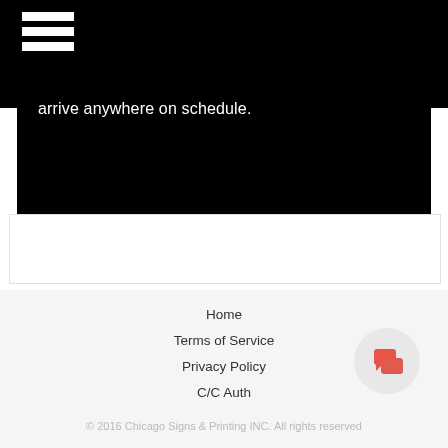[Figure (screenshot): Black navigation bar at top with hamburger menu icon (three white horizontal lines)]
arrive anywhere on schedule.
Home
Terms of Service
Privacy Policy
C/C Auth
Contact Us
[Figure (illustration): Red chat/speech bubble icon in a light gray circle button]
© 2016 Chicago Signs & Printing INC. All rights reserved